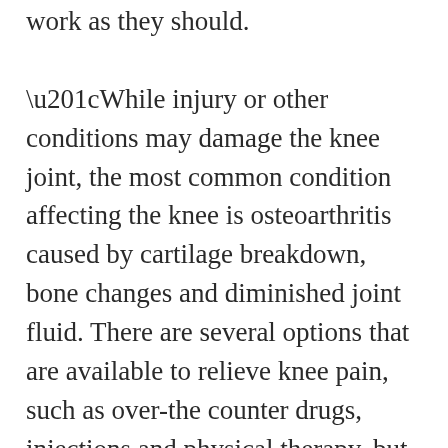work as they should. “While injury or other conditions may damage the knee joint, the most common condition affecting the knee is osteoarthritis caused by cartilage breakdown, bone changes and diminished joint fluid. There are several options that are available to relieve knee pain, such as over-the counter drugs, injections and physical therapy, but there comes a time when the joint is so damaged that knee replacement is your best option to improve quality of life,” said Dr. J. Fredrick Wade, an orthopedic surgeon on the